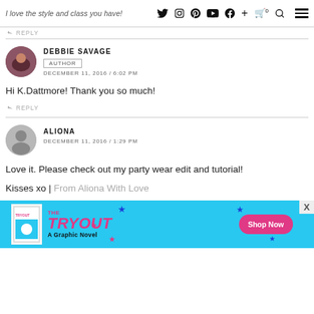I love the style and class you have!
↩ REPLY
DEBBIE SAVAGE
AUTHOR
DECEMBER 11, 2016 / 6:02 PM
Hi K.Dattmore! Thank you so much!
↩ REPLY
ALIONA
DECEMBER 11, 2016 / 1:29 PM
Love it. Please check out my party wear edit and tutorial!
Kisses xo | From Aliona With Love
[Figure (other): The TRYOUT – A Graphic Novel advertisement banner with shop now button]